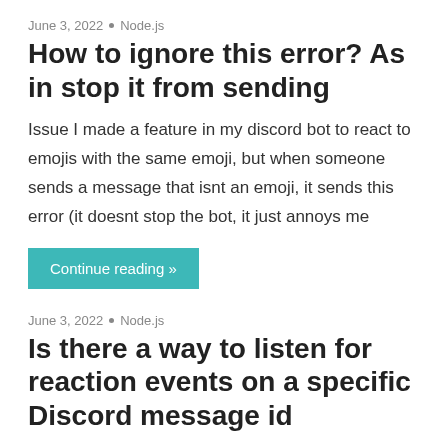June 3, 2022 • Node.js
How to ignore this error? As in stop it from sending
Issue I made a feature in my discord bot to react to emojis with the same emoji, but when someone sends a message that isnt an emoji, it sends this error (it doesnt stop the bot, it just annoys me
Continue reading »
June 3, 2022 • Node.js
Is there a way to listen for reaction events on a specific Discord message id